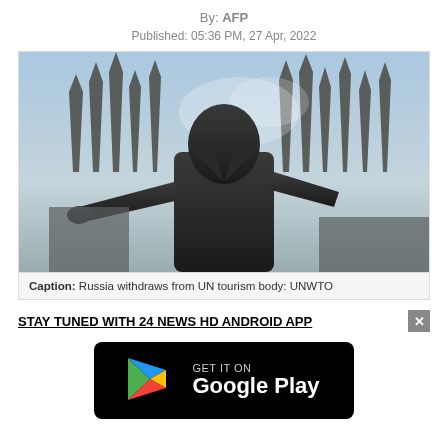By: AFP
Published: 05:36 PM, 27 Apr, 2022
[Figure (photo): Dark statue of a figure with outstretched arm against a sky background with industrial spikes/bayonets. Caption reads: Russia withdraws from UN tourism body: UNWTO]
Caption: Russia withdraws from UN tourism body: UNWTO
STAY TUNED WITH 24 NEWS HD ANDROID APP
[Figure (logo): Google Play badge with 'GET IT ON Google Play' text and Play Store triangle logo]